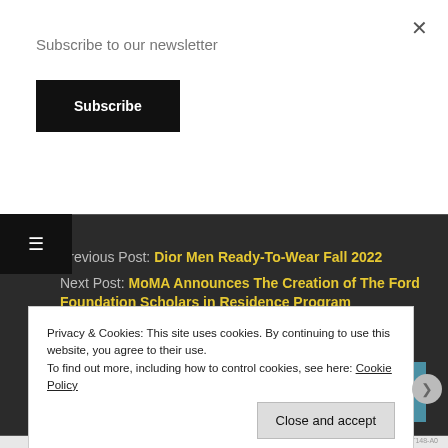Subscribe to our newsletter
Subscribe
Previous Post: Dior Men Ready-To-Wear Fall 2022
Next Post: MoMA Announces The Creation of The Ford Foundation Scholars in Residence Program
Privacy & Cookies: This site uses cookies. By continuing to use this website, you agree to their use.
To find out more, including how to control cookies, see here: Cookie Policy
Close and accept
AUTOMATTIC
Love working again.